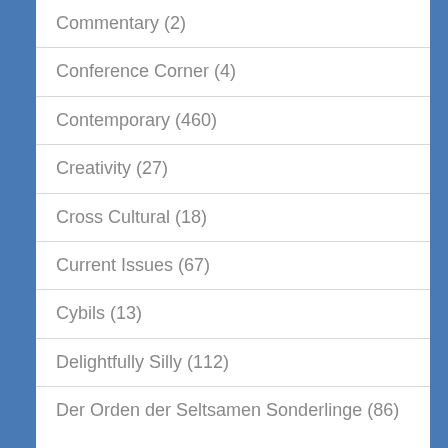Commentary (2)
Conference Corner (4)
Contemporary (460)
Creativity (27)
Cross Cultural (18)
Current Issues (67)
Cybils (13)
Delightfully Silly (112)
Der Orden der Seltsamen Sonderlinge (86)